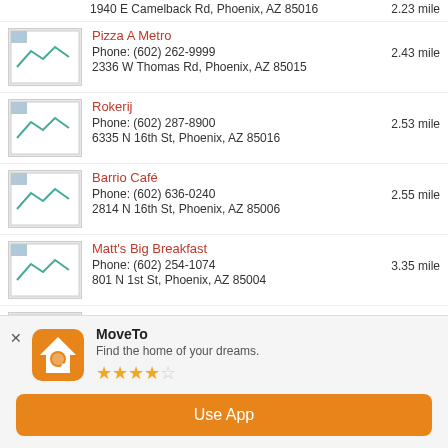1940 E Camelback Rd, Phoenix, AZ 85016 — 2.23 miles
Pizza A Metro — Phone: (602) 262-9999 — 2.43 miles — 2336 W Thomas Rd, Phoenix, AZ 85015
Rokerij — Phone: (602) 287-8900 — 2.53 miles — 6335 N 16th St, Phoenix, AZ 85016
Barrio Café — Phone: (602) 636-0240 — 2.55 miles — 2814 N 16th St, Phoenix, AZ 85006
Matt's Big Breakfast — Phone: (602) 254-1074 — 3.35 miles — 801 N 1st St, Phoenix, AZ 85004
The Breadfruit — Phone: (602) 267-1266 — 3.43 miles — 108 E Pierce St, Phoenix, AZ 85004
Cibo — Phone: (602) 441-2697 — 3.45 miles
[Figure (infographic): App banner: MoveTo app promotion with house/search logo, 3.5 star rating, and Use App button]
MoveTo — Find the home of your dreams.
Use App